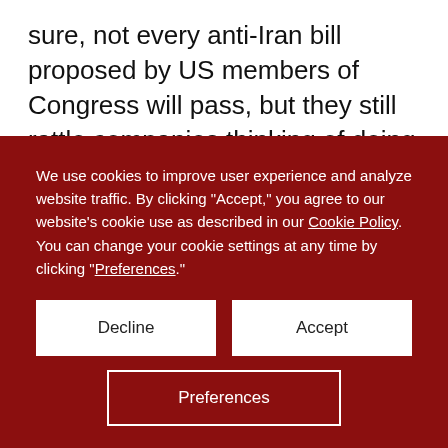sure, not every anti-Iran bill proposed by US members of Congress will pass, but they still rattle companies thinking of doing business with Tehran.
Following Khamenei’s speech, on Tuesday Rouhani did his first live interview on national television since March, in which he attempted to sell his chief foreign policy achievement yet again. He tackled a
We use cookies to improve user experience and analyze website traffic. By clicking “Accept,” you agree to our website’s cookie use as described in our Cookie Policy. You can change your cookie settings at any time by clicking “Preferences.”